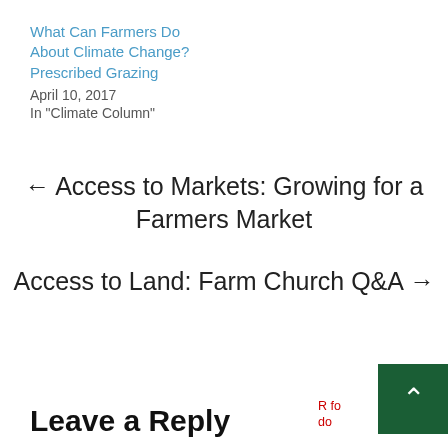What Can Farmers Do About Climate Change? Prescribed Grazing
April 10, 2017
In "Climate Column"
← Access to Markets: Growing for a Farmers Market
Access to Land: Farm Church Q&A →
Leave a Reply